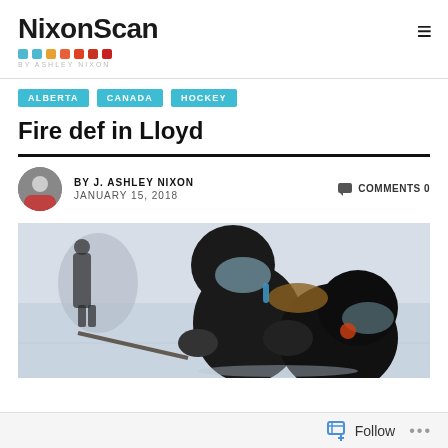NixonScan
ALBERTA   CANADA   HOCKEY
Fire def in Lloyd
BY J. ASHLEY NIXON   JANUARY 15, 2018   COMMENTS 0
[Figure (photo): Two women's hockey players in black helmets and gear on an ice rink, one appearing to check or embrace the other, with a third player visible in the background]
Follow   ...